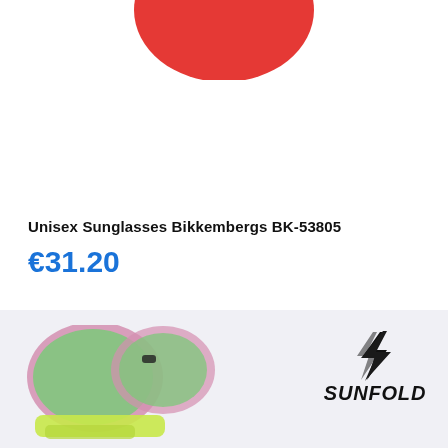[Figure (photo): Partial view of a product image at the top — red circular object partially cropped at top of page]
Unisex Sunglasses Bikkembergs BK-53805
€31.20
[Figure (photo): Pink and green foldable sunglasses displayed on a light grey background with Sunfold brand logo to the right]